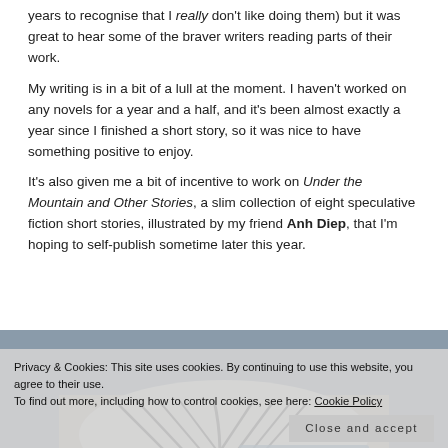years to recognise that I really don't like doing them) but it was great to hear some of the braver writers reading parts of their work.
My writing is in a bit of a lull at the moment. I haven't worked on any novels for a year and a half, and it's been almost exactly a year since I finished a short story, so it was nice to have something positive to enjoy.
It's also given me a bit of incentive to work on Under the Mountain and Other Stories, a slim collection of eight speculative fiction short stories, illustrated by my friend Anh Diep, that I'm hoping to self-publish sometime later this year.
[Figure (photo): Open book with black and white striped pages, with a teal/blue cover book visible beneath it]
Privacy & Cookies: This site uses cookies. By continuing to use this website, you agree to their use.
To find out more, including how to control cookies, see here: Cookie Policy